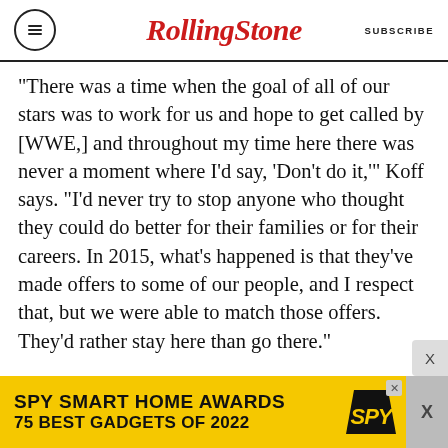RollingStone — SUBSCRIBE
“There was a time when the goal of all of our stars was to work for us and hope to get called by [WWE,] and throughout my time here there was never a moment where I’d say, ‘Don’t do it,’” Koff says. “I’d never try to stop anyone who thought they could do better for their families or for their careers. In 2015, what’s happened is that they’ve made offers to some of our people, and I respect that, but we were able to match those offers. They’d rather stay here than go there.”
[Figure (infographic): SPY Smart Home Awards advertisement banner — 75 Best Gadgets of 2022 — yellow background with SPY logo in black italic text]